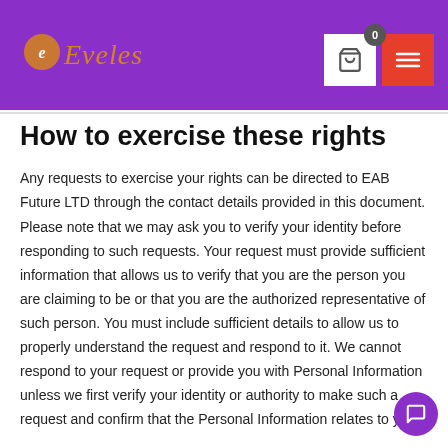Eveles — navigation header with logo, cart, and menu
How to exercise these rights
Any requests to exercise your rights can be directed to EAB Future LTD through the contact details provided in this document. Please note that we may ask you to verify your identity before responding to such requests. Your request must provide sufficient information that allows us to verify that you are the person you are claiming to be or that you are the authorized representative of such person. You must include sufficient details to allow us to properly understand the request and respond to it. We cannot respond to your request or provide you with Personal Information unless we first verify your identity or authority to make such a request and confirm that the Personal Information relates to you.